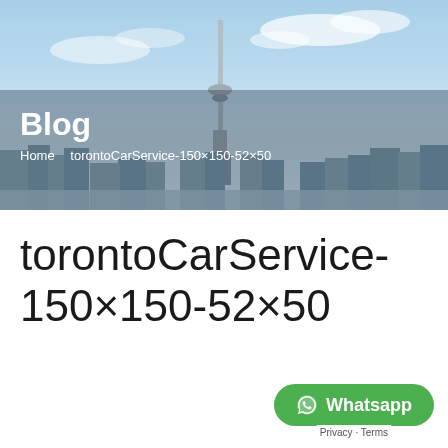[Figure (photo): Toronto skyline with CN Tower under a blue sky, used as a hero banner background]
Blog
Home   torontoCarService-150×150-52×50
torontoCarService-150×150-52×50
Whatsapp
Privacy · Terms